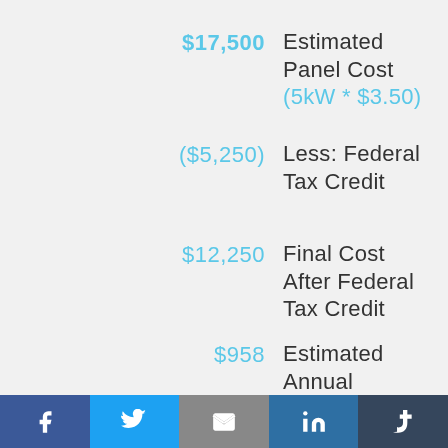$17,500  Estimated Panel Cost (5kW * $3.50)
($5,250)  Less: Federal Tax Credit
$12,250  Final Cost After Federal Tax Credit
$958  Estimated Annual Savings
[Figure (infographic): Social share bar with Facebook, Twitter, Email, LinkedIn, and Tumblr buttons]